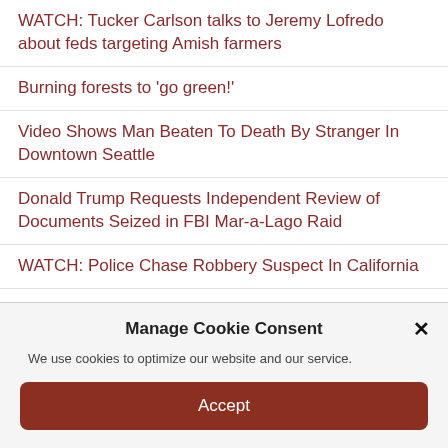WATCH: Tucker Carlson talks to Jeremy Lofredo about feds targeting Amish farmers
Burning forests to 'go green!'
Video Shows Man Beaten To Death By Stranger In Downtown Seattle
Donald Trump Requests Independent Review of Documents Seized in FBI Mar-a-Lago Raid
WATCH: Police Chase Robbery Suspect In California
Social Media Users Outraged After Men Filmed Pulling Out Shark Onto Florida Beach, Stabbing it in the Head –
Manage Cookie Consent
We use cookies to optimize our website and our service.
Accept